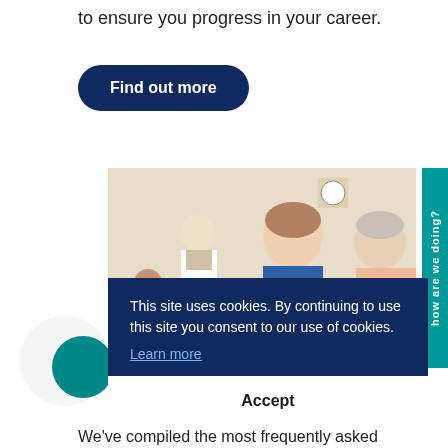to ensure you progress in your career.
Find out more
[Figure (photo): Healthcare setting: a young nurse in blue scrubs speaking with an elderly patient, with a doctor in white coat visible in the background]
how are we doing?
This site uses cookies. By continuing to use this site you consent to our use of cookies. Learn more
Accept
We've compiled the most frequently asked